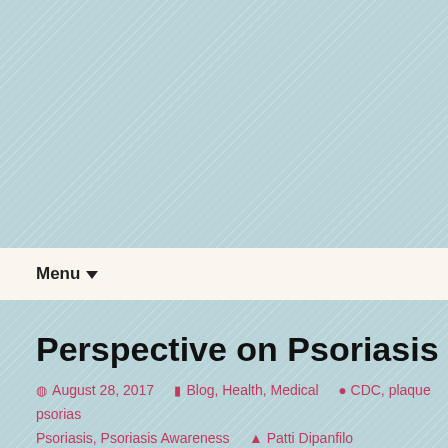Menu
Perspective on Psoriasis
August 28, 2017   Blog, Health, Medical   CDC, plaque psorias... Psoriasis, Psoriasis Awareness   Patti Dipanfilo